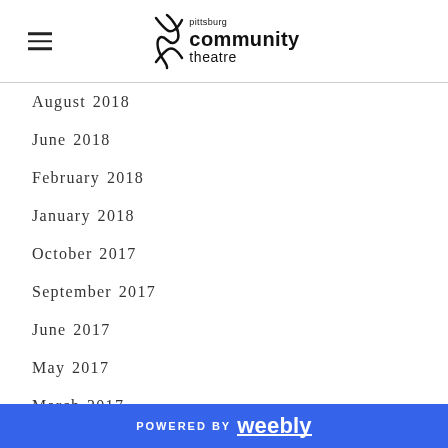Pittsburg Community Theatre
August 2018
June 2018
February 2018
January 2018
October 2017
September 2017
June 2017
May 2017
March 2017
February 2017
October 2016
POWERED BY weebly